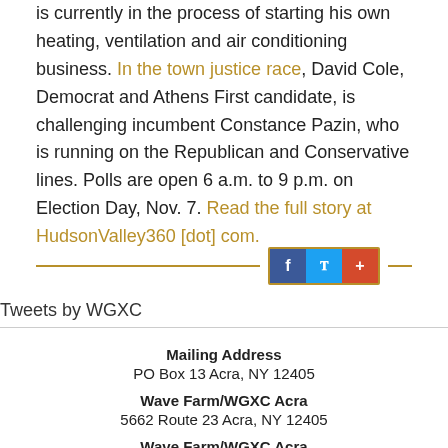is currently in the process of starting his own heating, ventilation and air conditioning business. In the town justice race, David Cole, Democrat and Athens First candidate, is challenging incumbent Constance Pazin, who is running on the Republican and Conservative lines. Polls are open 6 a.m. to 9 p.m. on Election Day, Nov. 7. Read the full story at HudsonValley360 [dot] com.
[Figure (other): Social media sharing buttons: Facebook (f), Twitter (bird icon), and a plus/share button, flanked by gold horizontal divider lines]
Tweets by WGXC
Mailing Address
PO Box 13 Acra, NY 12405
Wave Farm/WGXC Acra
5662 Route 23 Acra, NY 12405
Wave Farm/WGXC Acra